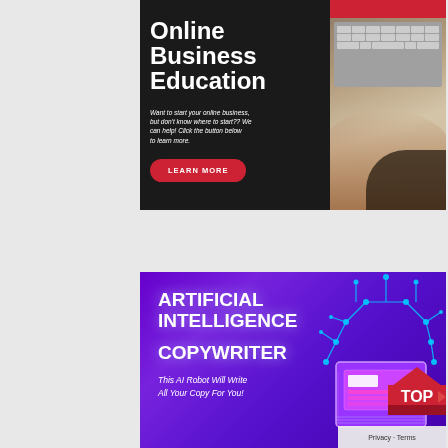[Figure (illustration): Online Business Education advertisement banner with dark background on left showing title and learn more button, and photo of person using laptop on right with red top bar]
[Figure (illustration): Artificial Intelligence Copywriter advertisement banner with purple gradient background, white bold text, and circuit board / robot illustration on right side. Includes TOP badge and Privacy/Terms overlay.]